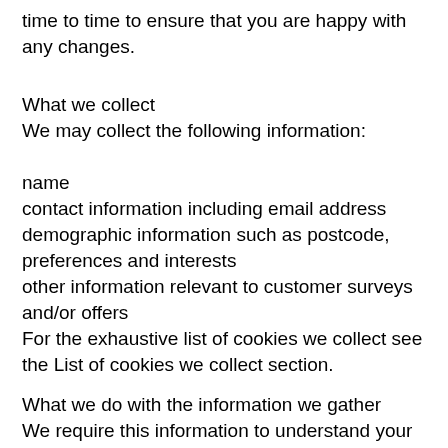time to time to ensure that you are happy with any changes.
What we collect
We may collect the following information:
name
contact information including email address
demographic information such as postcode, preferences and interests
other information relevant to customer surveys and/or offers
For the exhaustive list of cookies we collect see the List of cookies we collect section.
What we do with the information we gather
We require this information to understand your needs and provide you with a better service, and in